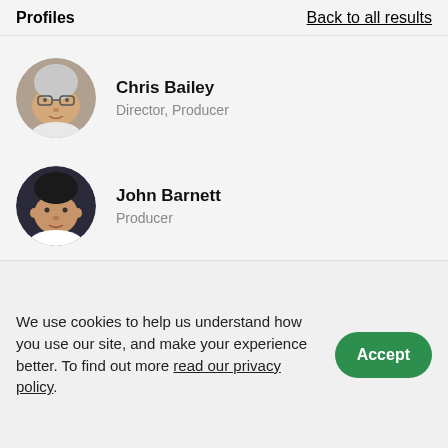Profiles
Back to all results
Chris Bailey – Director, Producer
John Barnett – Producer
Brian Shennan
We use cookies to help us understand how you use our site, and make your experience better. To find out more read our privacy policy.